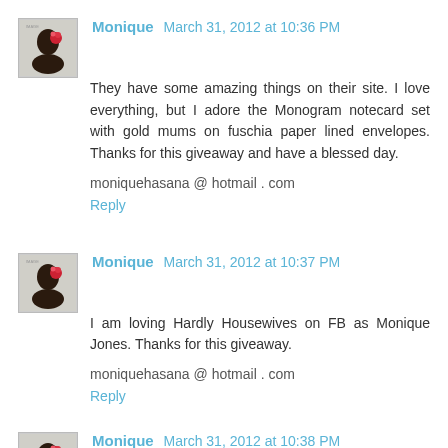[Figure (photo): Avatar image of Monique - woman with flower in hair]
Monique March 31, 2012 at 10:36 PM
They have some amazing things on their site. I love everything, but I adore the Monogram notecard set with gold mums on fuschia paper lined envelopes. Thanks for this giveaway and have a blessed day.
moniquehasana @ hotmail . com
Reply
[Figure (photo): Avatar image of Monique - woman with flower in hair]
Monique March 31, 2012 at 10:37 PM
I am loving Hardly Housewives on FB as Monique Jones. Thanks for this giveaway.
moniquehasana @ hotmail . com
Reply
[Figure (photo): Avatar image of Monique - woman with flower in hair]
Monique March 31, 2012 at 10:38 PM